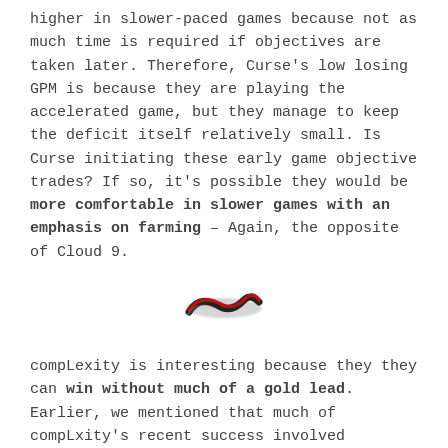higher in slower-paced games because not as much time is required if objectives are taken later. Therefore, Curse's low losing GPM is because they are playing the accelerated game, but they manage to keep the deficit itself relatively small. Is Curse initiating these early game objective trades? If so, it's possible they would be more comfortable in slower games with an emphasis on farming – Again, the opposite of Cloud 9.
[Figure (logo): A red and black stylized logo, resembling a snake or curved shape with motion blur effect.]
compLexity is interesting because they they can win without much of a gold lead. Earlier, we mentioned that much of compLxity's recent success involved turtling, and here it's blatantly on show. In fact,